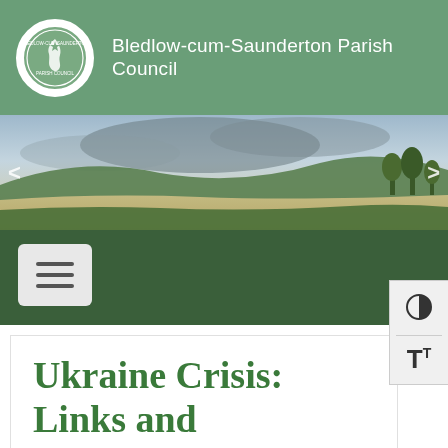Bledlow-cum-Saunderton Parish Council
[Figure (photo): Landscape photo banner showing rolling green hills and farmland with dramatic sky]
[Figure (other): Navigation bar with hamburger menu icon and accessibility controls (contrast toggle and text size)]
Ukraine Crisis: Links and Information from Buckinghamshire